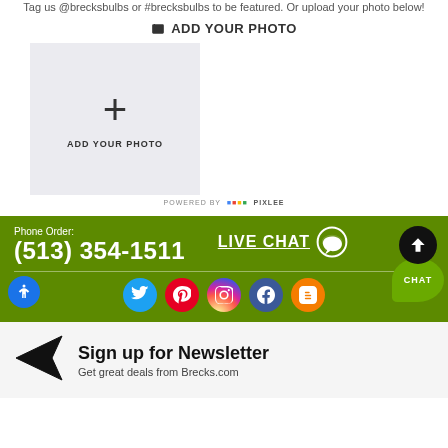Tag us @brecksbulbs or #brecksbulbs to be featured. Or upload your photo below!
ADD YOUR PHOTO
[Figure (other): Upload photo box with plus sign and ADD YOUR PHOTO label]
POWERED BY PIXLEE
Phone Order: (513) 354-1511
LIVE CHAT
[Figure (infographic): Social media icons: Twitter, Pinterest, Instagram, Facebook, Blogger]
CHAT
Sign up for Newsletter
Get great deals from Brecks.com